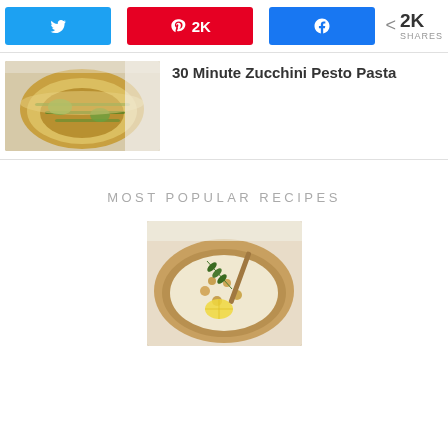[Figure (infographic): Social share bar with Twitter button, Pinterest button showing 2K, Facebook button, and share count 2K SHARES]
[Figure (photo): Photo of zucchini pesto pasta in a yellow bowl]
30 Minute Zucchini Pesto Pasta
MOST POPULAR RECIPES
[Figure (photo): Photo of a creamy soup with chickpeas, rosemary, and lemon in a wooden bowl]